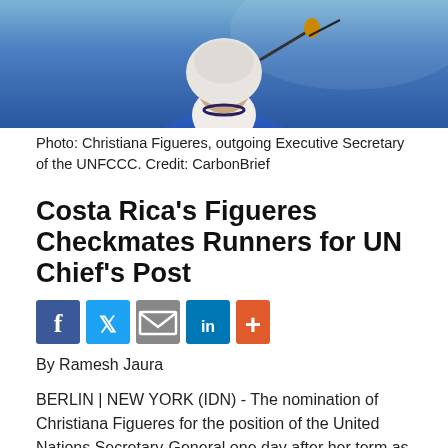[Figure (photo): Photo of Christiana Figueres, outgoing Executive Secretary of the UNFCCC, wearing blue jacket and white top, speaking into a microphone.]
Photo: Christiana Figueres, outgoing Executive Secretary of the UNFCCC. Credit: CarbonBrief
Costa Rica's Figueres Checkmates Runners for UN Chief's Post
[Figure (infographic): Social media sharing buttons: Facebook, Twitter, Email, LinkedIn, More (+)]
By Ramesh Jaura
BERLIN | NEW YORK (IDN) - The nomination of Christiana Figueres for the position of the United Nations Secretary-General one day after her term as Executive Secretary of the UN Framework Convention on Climate Change (UNFCCC) ended on July 6, comes as a checkmate to five other female and six male candidates vying for the world's top diplomatic post.